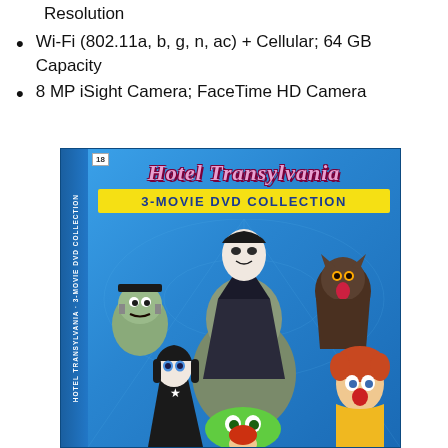Resolution
Wi-Fi (802.11a, b, g, n, ac) + Cellular; 64 GB Capacity
8 MP iSight Camera; FaceTime HD Camera
[Figure (photo): DVD box set of Hotel Transylvania 3-Movie DVD Collection showing animated monster characters on a blue background with spider web design. The box has a spine with the title text and a front cover with characters including Dracula, Mavis, a werewolf, Frankenstein's monster, and others.]